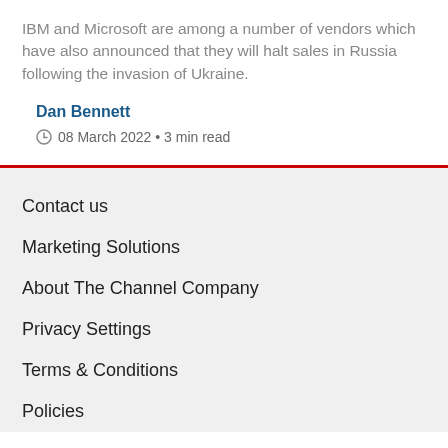IBM and Microsoft are among a number of vendors which have also announced that they will halt sales in Russia following the invasion of Ukraine.
Dan Bennett
08 March 2022 • 3 min read
Contact us
Marketing Solutions
About The Channel Company
Privacy Settings
Terms & Conditions
Policies